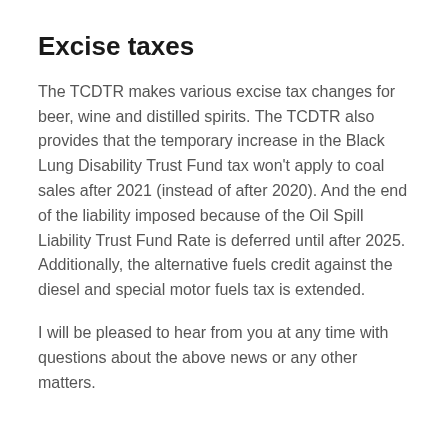Excise taxes
The TCDTR makes various excise tax changes for beer, wine and distilled spirits. The TCDTR also provides that the temporary increase in the Black Lung Disability Trust Fund tax won’t apply to coal sales after 2021 (instead of after 2020). And the end of the liability imposed because of the Oil Spill Liability Trust Fund Rate is deferred until after 2025. Additionally, the alternative fuels credit against the diesel and special motor fuels tax is extended.
I will be pleased to hear from you at any time with questions about the above news or any other matters.